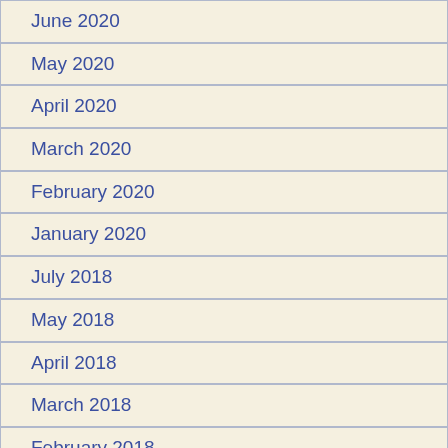June 2020
May 2020
April 2020
March 2020
February 2020
January 2020
July 2018
May 2018
April 2018
March 2018
February 2018
January 2018
December 2017